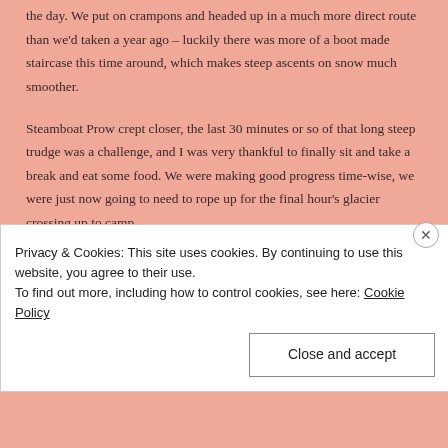the day.  We put on crampons and headed up in a much more direct route than we'd taken a year ago – luckily there was more of a boot made staircase this time around, which makes steep ascents on snow much smoother.
Steamboat Prow crept closer, the last 30 minutes or so of that long steep trudge was a challenge, and I was very thankful to finally sit and take a break and eat some food.  We were making good progress time-wise, we were just now going to need to rope up for the final hour's glacier crossing up to camp.
The crevasses were wide and open and Eve (with
Privacy & Cookies: This site uses cookies. By continuing to use this website, you agree to their use.
To find out more, including how to control cookies, see here: Cookie Policy
Close and accept